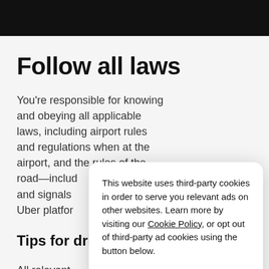Follow all laws
You’re responsible for knowing and obeying all applicable laws, including airport rules and regulations when at the airport, and the rules of the road—includ… and signals… Uber platfor…
Tips for dri…
All relevant… documents… must be kep… vehicle, you’re required by law to maintain a valid
This website uses third-party cookies in order to serve you relevant ads on other websites. Learn more by visiting our Cookie Policy, or opt out of third-party ad cookies using the button below.